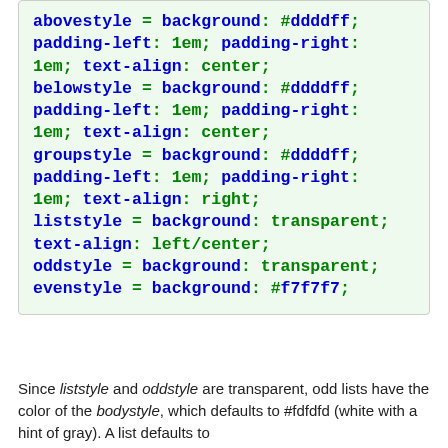abovestyle = background: #ddddff;
padding-left: 1em; padding-right:
1em; text-align: center;
belowstyle = background: #ddddff;
padding-left: 1em; padding-right:
1em; text-align: center;
groupstyle = background: #ddddff;
padding-left: 1em; padding-right:
1em; text-align: right;
liststyle = background: transparent;
text-align: left/center;
oddstyle = background: transparent;
evenstyle = background: #f7f7f7;
Since liststyle and oddstyle are transparent, odd lists have the color of the bodystyle, which defaults to #fdfdfd (white with a hint of gray). A list defaults to